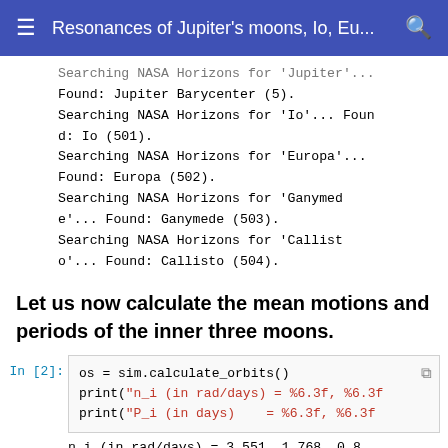Resonances of Jupiter's moons, Io, Eu...
Searching NASA Horizons for 'Jupiter'... Found: Jupiter Barycenter (5).
Searching NASA Horizons for 'Io'... Found: Io (501).
Searching NASA Horizons for 'Europa'... Found: Europa (502).
Searching NASA Horizons for 'Ganymede'... Found: Ganymede (503).
Searching NASA Horizons for 'Callisto'... Found: Callisto (504).
Let us now calculate the mean motions and periods of the inner three moons.
In [2]:  os = sim.calculate_orbits()
         print("n_i (in rad/days) = %6.3f, %6.3f
         print("P_i (in days)    = %6.3f, %6.3f
n_i (in rad/days) =  3.551,  1.768,  0.879
P_i (in days) =  1.769,  3.554,  7.1...